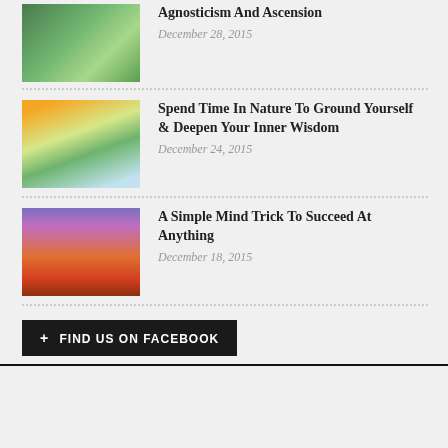[Figure (photo): Person meditating in lotus position on green grass]
Agnosticism And Ascension
December 28, 2015
[Figure (photo): Woman on a mountain hilltop with arms raised, scenic nature view]
Spend Time In Nature To Ground Yourself & Deepen Your Inner Wisdom
December 24, 2015
[Figure (photo): Person meditating at sunset over water, orange and purple sky]
A Simple Mind Trick To Succeed At Anything
December 18, 2015
+ FIND US ON FACEBOOK